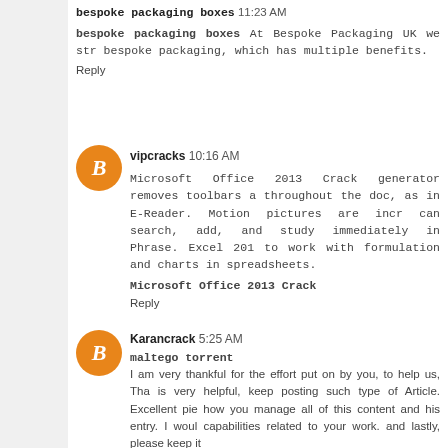bespoke packaging boxes  11:23 AM
bespoke packaging boxes  At Bespoke Packaging UK we str... bespoke packaging, which has multiple benefits.
Reply
vipcracks  10:16 AM
Microsoft Office 2013 Crack generator removes toolbars a... throughout the doc, as in E-Reader. Motion pictures are incr... can search, add, and study immediately in Phrase. Excel 201... to work with formulation and charts in spreadsheets.
Microsoft Office 2013 Crack
Reply
Karancrack  5:25 AM
maltego torrent
I am very thankful for the effort put on by you, to help us, Tha... is very helpful, keep posting such type of Article. Excellent pie... how you manage all of this content and his entry. I woul... capabilities related to your work. and lastly, please keep it